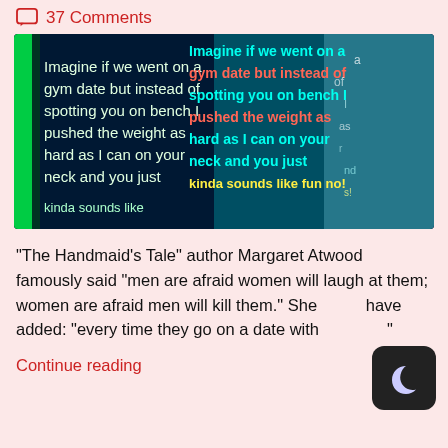37 Comments
[Figure (photo): A digital art image with overlapping text on a dark blue/teal background reading: 'Imagine if we went on a gym date but instead of spotting you on bench I pushed the weight as hard as I can on your neck and you just kinda sounds like fun no!']
“The Handmaid’s Tale” author Margaret Atwood famously said “men are afraid women will laugh at them; women are afraid men will kill them.” She could have added: “every time they go on a date with
Continue reading